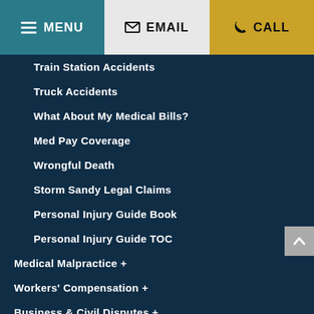MENU | EMAIL | CALL
Train Station Accidents
Truck Accidents
What About My Medical Bills?
Med Pay Coverage
Wrongful Death
Storm Sandy Legal Claims
Personal Injury Guide Book
Personal Injury Guide TOC
Medical Malpractice +
Workers' Compensation +
Business & Civil Disputes +
Legal Services For Lawyers +